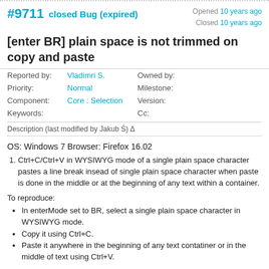#9711 closed Bug (expired) — Opened 10 years ago, Closed 10 years ago
[enter BR] plain space is not trimmed on copy and paste
| Field | Value | Field | Value |
| --- | --- | --- | --- |
| Reported by: | Vladimri S. | Owned by: |  |
| Priority: | Normal | Milestone: |  |
| Component: | Core : Selection | Version: |  |
| Keywords: |  | Cc: |  |
Description (last modified by Jakub Ś) Δ
OS: Windows 7 Browser: Firefox 16.02
Ctrl+C/Ctrl+V in WYSIWYG mode of a single plain space character pastes a line break insead of single plain space character when paste is done in the middle or at the beginning of any text within a container.
To reproduce:
In enterMode set to BR, select a single plain space character in WYSIWYG mode.
Copy it using Ctrl+C.
Paste it anywhere in the beginning of any text contatiner or in the middle of text using Ctrl+V.